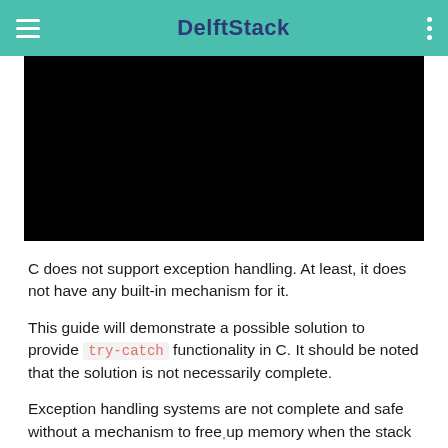DelftStack
[Figure (screenshot): Black video placeholder/thumbnail area]
C does not support exception handling. At least, it does not have any built-in mechanism for it.
This guide will demonstrate a possible solution to provide try-catch functionality in C. It should be noted that the solution is not necessarily complete.
Exception handling systems are not complete and safe without a mechanism to free up memory when the stack has been traversed, and C does not have a